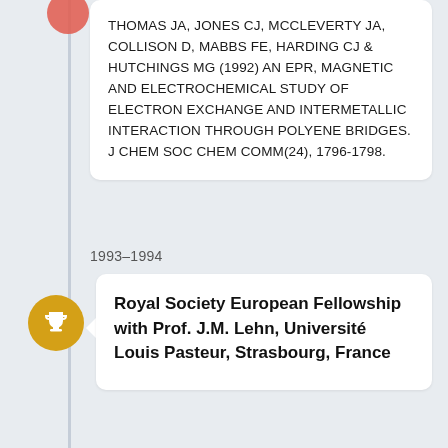THOMAS JA, JONES CJ, MCCLEVERTY JA, COLLISON D, MABBS FE, HARDING CJ & HUTCHINGS MG (1992) AN EPR, MAGNETIC AND ELECTROCHEMICAL STUDY OF ELECTRON EXCHANGE AND INTERMETALLIC INTERACTION THROUGH POLYENE BRIDGES. J CHEM SOC CHEM COMM(24), 1796-1798.
1993–1994
Royal Society European Fellowship with Prof. J.M. Lehn, Université Louis Pasteur, Strasbourg, France